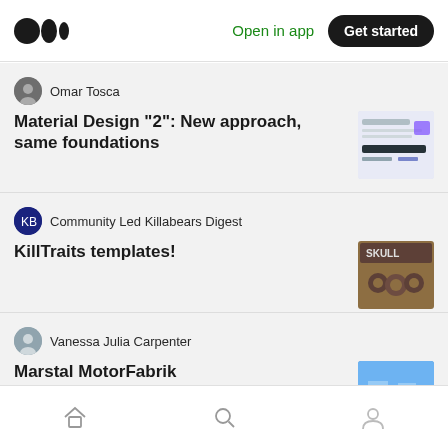Medium — Open in app | Get started
Omar Tosca
Material Design "2": New approach, same foundations
Community Led Killabears Digest
KillTraits templates!
Vanessa Julia Carpenter
Marstal MotorFabrik
Inobright Inc.
Home | Search | Profile